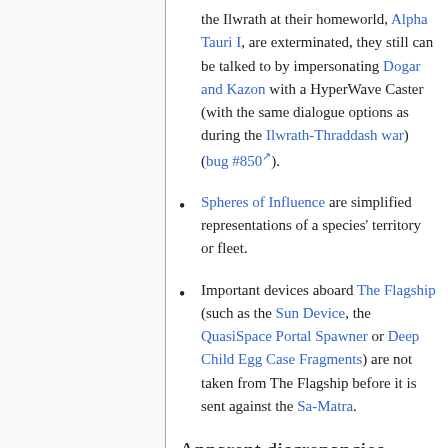the Ilwrath at their homeworld, Alpha Tauri I, are exterminated, they still can be talked to by impersonating Dogar and Kazon with a HyperWave Caster (with the same dialogue options as during the Ilwrath-Thraddash war) (bug #850).
Spheres of Influence are simplified representations of a species' territory or fleet.
Important devices aboard The Flagship (such as the Sun Device, the QuasiSpace Portal Spawner or Deep Child Egg Case Fragments) are not taken from The Flagship before it is sent against the Sa-Matra.
Apparent discrepancies
with the Star Control II...